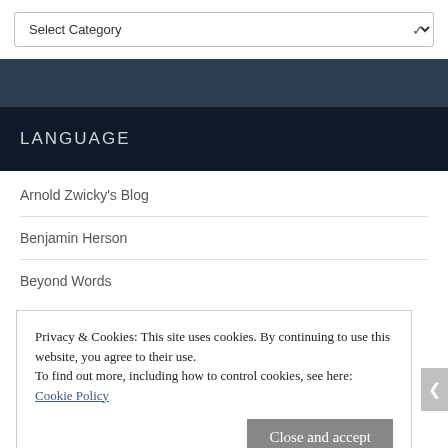[Figure (screenshot): Dropdown select box with 'Select Category' placeholder and chevron arrow]
LANGUAGE
Arnold Zwicky's Blog
Benjamin Herson
Beyond Words
Privacy & Cookies: This site uses cookies. By continuing to use this website, you agree to their use.
To find out more, including how to control cookies, see here: Cookie Policy
Close and accept